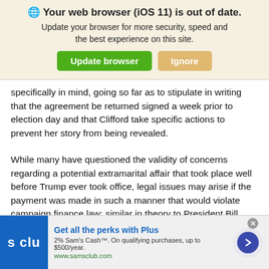[Figure (screenshot): Browser update notification banner with globe icon, bold title 'Your web browser (iOS 11) is out of date.', subtitle text, and two buttons: 'Update browser' (green) and 'Ignore' (tan/orange)]
specifically in mind, going so far as to stipulate in writing that the agreement be returned signed a week prior to election day and that Clifford take specific actions to prevent her story from being revealed.
While many have questioned the validity of concerns regarding a potential extramarital affair that took place well before Trump ever took office, legal issues may arise if the payment was made in such a manner that would violate campaign finance law; similar in theory to President Bill Clint...
[Figure (screenshot): Advertisement banner for Sam's Club. Blue logo with 's clu' text, headline 'Get all the perks with Plus', description '2% Sam's Cash™. On qualifying purchases, up to $500/year.' and URL www.samsclub.com, with a blue arrow button.]